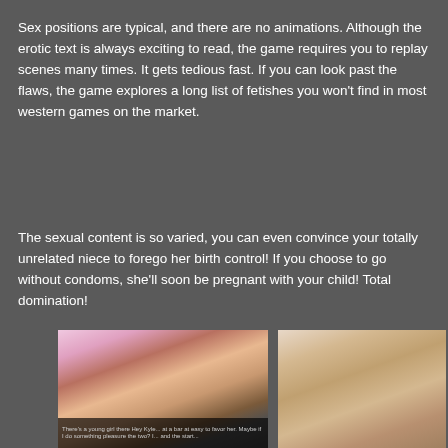Sex positions are typical, and there are no animations. Although the erotic text is always exciting to read, the game requires you to replay scenes many times. It gets tedious fast. If you can look past the flaws, the game explores a long list of fetishes you won't find in most western games on the market.
The sexual content is so varied, you can even convince your totally unrelated niece to forego her birth control! If you choose to go without condoms, she'll soon be pregnant with your child! Total domination!
[Figure (screenshot): Screenshot from a 3D adult visual novel game showing two female characters sitting, one in a blue outfit and one in a patterned top, with dialogue text visible at the bottom.]
[Figure (screenshot): Screenshot from a 3D adult game showing explicit sexual content.]